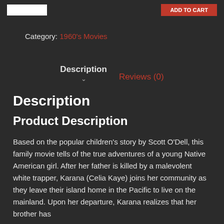[logo] [Add to cart button]
Category: 1960's Movies
Description   Reviews (0)
Description
Product Description
Based on the popular children's story by Scott O'Dell, this family movie tells of the true adventures of a young Native American girl. After her father is killed by a malevolent white trapper, Karana (Celia Kaye) joins her community as they leave their island home in the Pacific to live on the mainland. Upon her departure, Karana realizes that her brother has